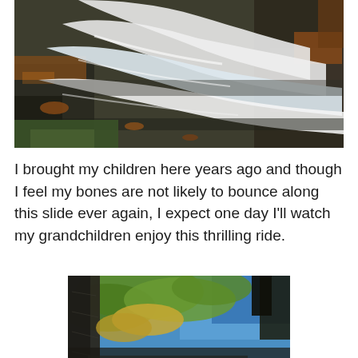[Figure (photo): A waterfall cascading over flat rock ledges surrounded by autumn leaves and mossy rocks]
I brought my children here years ago and though I feel my bones are not likely to bounce along this slide ever again, I expect one day I'll watch my grandchildren enjoy this thrilling ride.
[Figure (photo): An upward-looking view through a rocky gorge or crevice with green and yellow autumn trees and blue sky visible above]